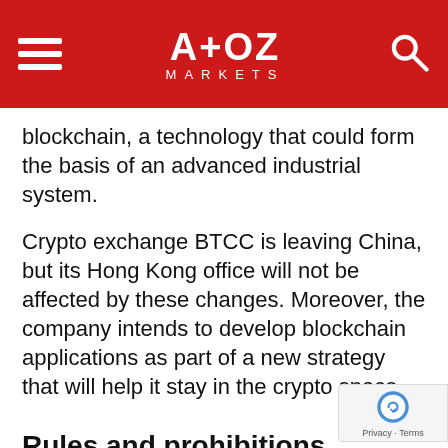A+OZ MARKETS
blockchain, a technology that could form the basis of an advanced industrial system.
Crypto exchange BTCC is leaving China, but its Hong Kong office will not be affected by these changes. Moreover, the company intends to develop blockchain applications as part of a new strategy that will help it stay in the crypto space.
Rules and prohibitions become the norm in China
Over the past year, Beijing has been busy battling cryptocurrencies, suggesting they threaten financial stability. The government is also concerned about the volatility of cryptocurrency prices and the